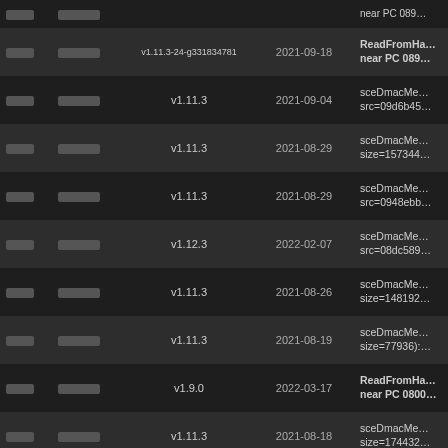| [redacted] | [redacted] | version | date | description |
| --- | --- | --- | --- | --- |
| ████ | ███████ |  |  | near PC 089… |
| ████ | ███████ | v1.11.3-24-g331834781 | 2021-09-18 | ReadFromHa… near PC 089… |
| ████ | ███████ | v1.11.3 | 2021-09-04 | sceDmacMe… src=09d6b45… |
| ████ | ███████ | v1.11.3 | 2021-08-29 | sceDmacMe… size=157344… |
| ████ | ███████ | v1.11.3 | 2021-08-29 | sceDmacMe… src=0948ebb… |
| ████ | ███████ | v1.12.3 | 2022-02-07 | sceDmacMe… src=08dc589… |
| ████ | ███████ | v1.11.3 | 2021-08-26 | sceDmacMe… size=148192… |
| ████ | ███████ | v1.11.3 | 2021-08-19 | sceDmacMe… size=77936):… |
| ████ | ███████ | v1.9.0 | 2022-03-17 | ReadFromHa… near PC 0800… |
| ████ | ███████ | v1.11.3 | 2021-08-18 | sceDmacMe… size=174432… |